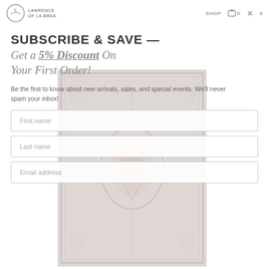Lawrence of La Brea — SHOP 🛒 0
SUBSCRIBE & SAVE —
Get a 5% Discount On Your First Order!
[Figure (photo): Persian/oriental rug with muted pink, blue, and beige tones featuring a medallion pattern, shown as a semi-transparent background overlay]
Be the first to know about new arrivals, sales, and special events. We'll never spam your inbox!
First name
Last name
Email address